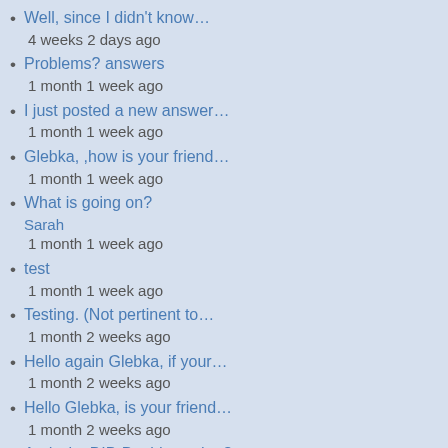Well, since I didn't know…
4 weeks 2 days ago
Problems? answers
1 month 1 week ago
I just posted a new answer…
1 month 1 week ago
Glebka, ,how is your friend…
1 month 1 week ago
What is going on?
Sarah
1 month 1 week ago
test
1 month 1 week ago
Testing. (Not pertinent to…
1 month 2 weeks ago
Hello again Glebka, if your…
1 month 2 weeks ago
Hello Glebka, is your friend…
1 month 2 weeks ago
And why DID David say that?…
3 months 1 week ago